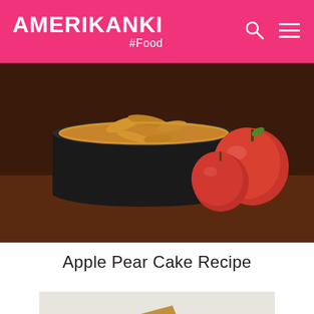AMERIKANKI #Food
[Figure (photo): Apple pie in a dark round baking pan with sliced apples on top, golden-brown crust, with two red apples beside it on a dark surface]
Apple Pear Cake Recipe
[Figure (photo): Triangular baked scone-like pastries arranged on a wire rack with green leaves/mint decoration on a light surface]